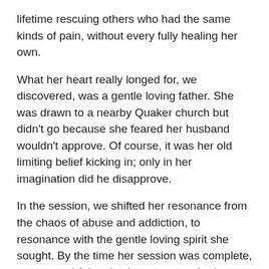lifetime rescuing others who had the same kinds of pain, without every fully healing her own.
What her heart really longed for, we discovered, was a gentle loving father. She was drawn to a nearby Quaker church but didn't go because she feared her husband wouldn't approve. Of course, it was her old limiting belief kicking in; only in her imagination did he disapprove.
In the session, we shifted her resonance from the chaos of abuse and addiction, to resonance with the gentle loving spirit she sought. By the time her session was complete, a more truthful and calmer persona had emerged.
She wrote a week later that she had reconnected with the Quaker church, was meditating regularly and awaking each day, no longer depressed, but with a sense of